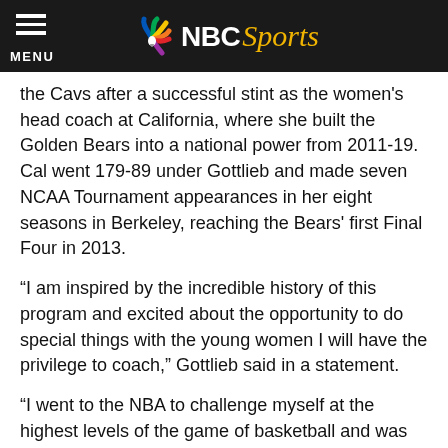NBC Sports
the Cavs after a successful stint as the women's head coach at California, where she built the Golden Bears into a national power from 2011-19. Cal went 179-89 under Gottlieb and made seven NCAA Tournament appearances in her eight seasons in Berkeley, reaching the Bears' first Final Four in 2013.
“I am inspired by the incredible history of this program and excited about the opportunity to do special things with the young women I will have the privilege to coach,” Gottlieb said in a statement.
“I went to the NBA to challenge myself at the highest levels of the game of basketball and was fully invested in that journey,” she added. “However, the commitment of President Carol Folt and athletic director Mike Bohn to women's basketball at USC, and to my vision of success, made it clear that now is the right time to come here and